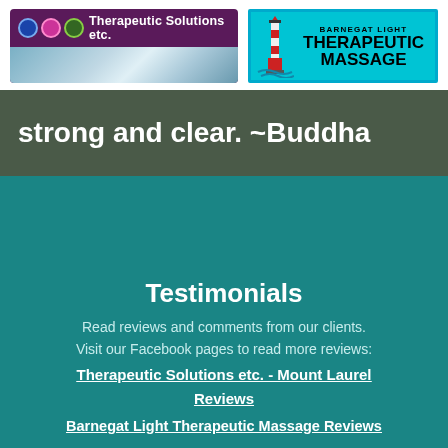[Figure (logo): Therapeutic Solutions etc. logo - purple banner with blue, pink, green circles and wavy teal design]
[Figure (logo): Barnegat Light Therapeutic Massage logo - teal/cyan border box with lighthouse illustration and bold text]
strong and clear.  ~Buddha
Testimonials
Read reviews and comments from our clients. Visit our Facebook pages to read more reviews:
Therapeutic Solutions etc. - Mount Laurel Reviews
Barnegat Light Therapeutic Massage Reviews